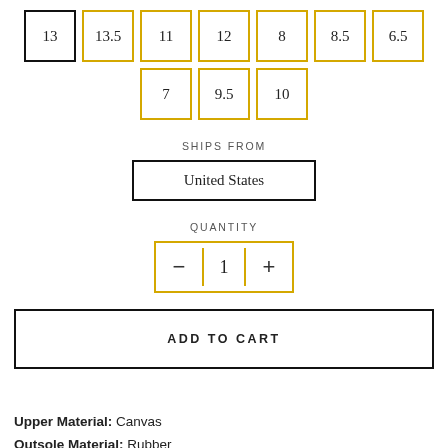Size options row 1: 13 (selected), 13.5, 11, 12, 8, 8.5, 6.5
Size options row 2: 7, 9.5, 10
SHIPS FROM
United States
QUANTITY
- 1 +
ADD TO CART
Upper Material: Canvas
Outsole Material: Rubber